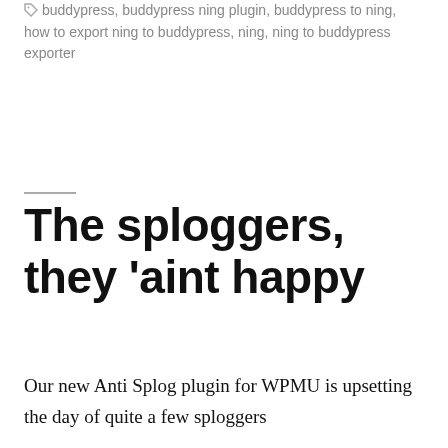buddypress, buddypress ning plugin, buddypress to ning, how to export ning to buddypress, ning, ning to buddypress exporter
The sploggers, they 'aint happy
Our new Anti Splog plugin for WPMU is upsetting the day of quite a few sploggers